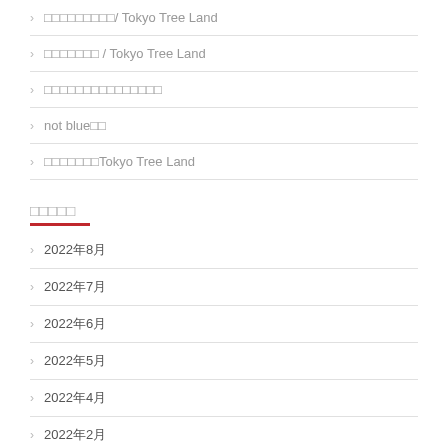› □□□□□□□□□/ Tokyo Tree Land
› □□□□□□□ / Tokyo Tree Land
› □□□□□□□□□□□□□□□
› not blue□□
› □□□□□□□Tokyo Tree Land
□□□□□
› 2022年8月
› 2022年7月
› 2022年6月
› 2022年5月
› 2022年4月
› 2022年2月